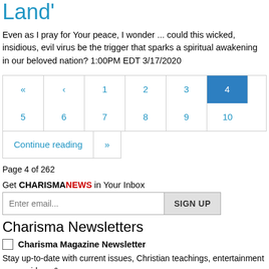Land'
Even as I pray for Your peace, I wonder ... could this wicked, insidious, evil virus be the trigger that sparks a spiritual awakening in our beloved nation? 1:00PM EDT 3/17/2020
Page 4 of 262
Get CHARISMANEWS in Your Inbox
Charisma Newsletters
Charisma Magazine Newsletter
Stay up-to-date with current issues, Christian teachings, entertainment news, videos & more.